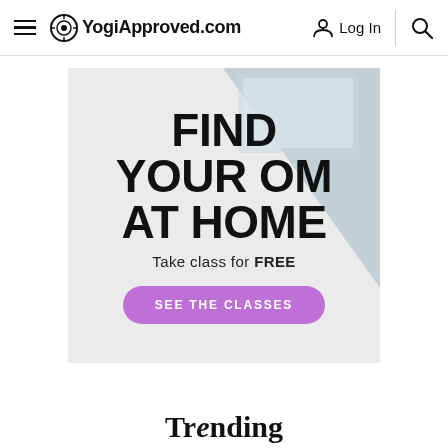YogiApproved.com  Log In
[Figure (screenshot): Promotional banner with light grey background and blue-grey triangle in upper right. Large bold black text reads FIND YOUR OM AT HOME. Subtitle reads Take class for FREE. Purple rounded button reads SEE THE CLASSES.]
Trending